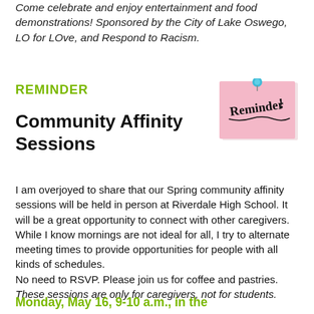Come celebrate and enjoy entertainment and food demonstrations! Sponsored by the City of Lake Oswego, LO for LOve, and Respond to Racism.
REMINDER
[Figure (illustration): Pink sticky note with handwritten text 'Reminder!' and a blue push pin at the top]
Community Affinity Sessions
I am overjoyed to share that our Spring community affinity sessions will be held in person at Riverdale High School. It will be a great opportunity to connect with other caregivers. While I know mornings are not ideal for all, I try to alternate meeting times to provide opportunities for people with all kinds of schedules.
No need to RSVP. Please join us for coffee and pastries.
These sessions are only for caregivers, not for students.
Monday, May 16, 9-10 a.m., in the